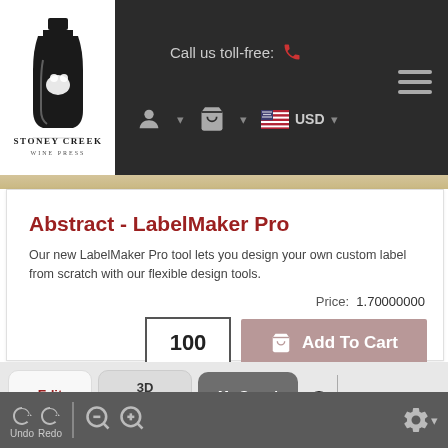[Figure (screenshot): Stoney Creek Wine Press website navigation bar with logo, call us toll-free text, account/cart/USD icons, and hamburger menu]
Abstract - LabelMaker Pro
Our new LabelMaker Pro tool lets you design your own custom label from scratch with our flexible design tools.
Price:  1.70000000
100  Add To Cart
Edit Label | 3D Bottle Preview | My Saved Designs | Help | Save to My Designs
Undo  Redo  [zoom out] [zoom in]  [gear]